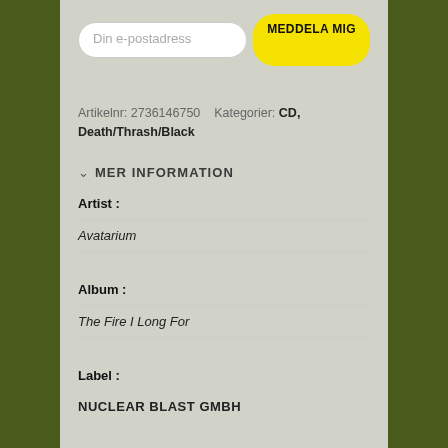Din e-postadress
MEDDELA MIG
Artikelnr: 2736146750   Kategorier: CD, Death/Thrash/Black
MER INFORMATION
| Artist : |  |
|  | Avatarium |
| Album : |  |
|  | The Fire I Long For |
| Label : |  |
|  | NUCLEAR BLAST GMBH |